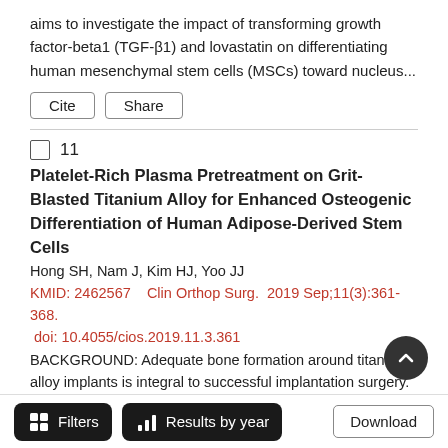aims to investigate the impact of transforming growth factor-beta1 (TGF-β1) and lovastatin on differentiating human mesenchymal stem cells (MSCs) toward nucleus...
Cite
Share
11
Platelet-Rich Plasma Pretreatment on Grit-Blasted Titanium Alloy for Enhanced Osteogenic Differentiation of Human Adipose-Derived Stem Cells
Hong SH, Nam J, Kim HJ, Yoo JJ
KMID: 2462567    Clin Orthop Surg.  2019 Sep;11(3):361-368.  doi: 10.4055/cios.2019.11.3.361
BACKGROUND: Adequate bone formation around titanium alloy implants is integral to successful implantation surgery. Stem cell-coated implants may accelerate peri-implant bone formation. Thi...
Filters   Results by year   Download